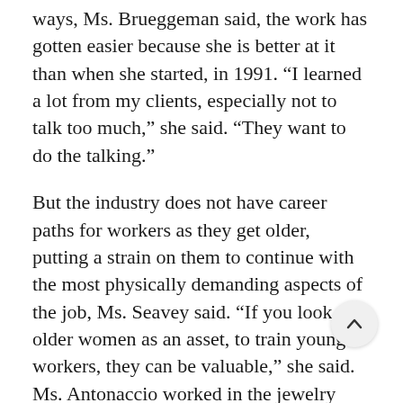ways, Ms. Brueggeman said, the work has gotten easier because she is better at it than when she started, in 1991. “I learned a lot from my clients, especially not to talk too much,” she said. “They want to do the talking.”
But the industry does not have career paths for workers as they get older, putting a strain on them to continue with the most physically demanding aspects of the job, Ms. Seavey said. “If you look at older women as an asset, to train younger workers, they can be valuable,” she said. Ms. Antonaccio worked in the jewelry industry for 40 years before retiring, then went to work as a caregiver after her husband’s death, drawn by the flexible hours. She did not need health benefits because she was eligible for Medicare. She did need a sense of purpose.